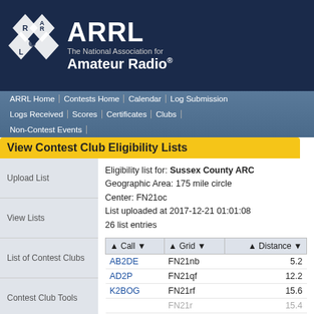[Figure (logo): ARRL logo with diamond shapes and antenna icon, white on dark navy background]
ARRL The National Association for Amateur Radio®
ARRL Home | Contests Home | Calendar | Log Submission | Logs Received | Scores | Certificates | Clubs | Non-Contest Events
View Contest Club Eligibility Lists
Upload List
View Lists
List of Contest Clubs
Contest Club Tools
Grid Distance Calculator
Eligibility list for: Sussex County ARC
Geographic Area: 175 mile circle
Center: FN21oc
List uploaded at 2017-12-21 01:01:08
26 list entries
| Call | Grid | Distance |
| --- | --- | --- |
| AB2DE | FN21nb | 5.2 |
| AD2P | FN21qf | 12.2 |
| K2BOG | FN21rf | 15.6 |